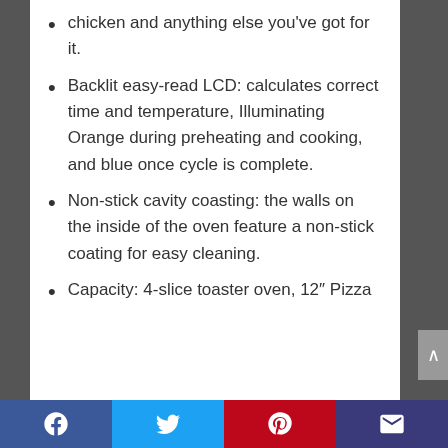chicken and anything else you've got for it.
Backlit easy-read LCD: calculates correct time and temperature, Illuminating Orange during preheating and cooking, and blue once cycle is complete.
Non-stick cavity coasting: the walls on the inside of the oven feature a non-stick coating for easy cleaning.
Capacity: 4-slice toaster oven, 12″ Pizza